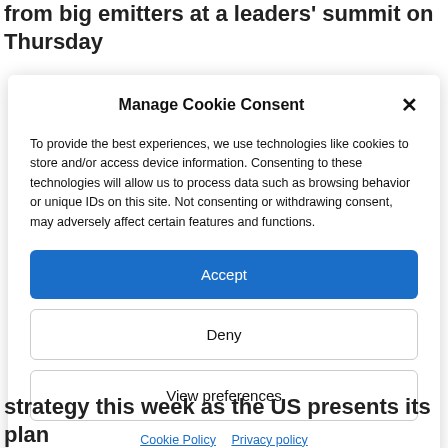from big emitters at a leaders' summit on Thursday
Manage Cookie Consent
To provide the best experiences, we use technologies like cookies to store and/or access device information. Consenting to these technologies will allow us to process data such as browsing behavior or unique IDs on this site. Not consenting or withdrawing consent, may adversely affect certain features and functions.
Accept
Deny
View preferences
Cookie Policy  Privacy policy
strategy this week as the US presents its plan